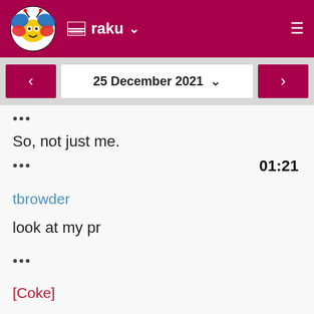raku
25 December 2021
•••
So, not just me.
••• 01:21
tbrowder
look at my pr
•••
[Coke]
I would verify when you run it standalone you're running the code you think you are, and that you don't have any local modifications to the file.